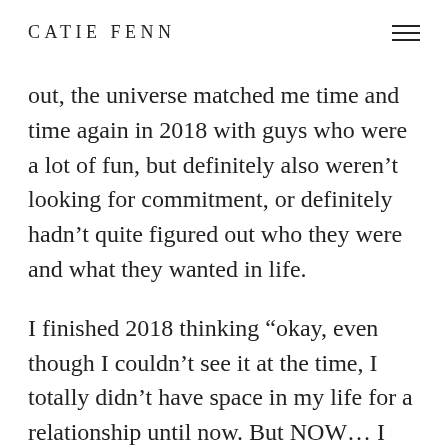CATIE FENN
out, the universe matched me time and time again in 2018 with guys who were a lot of fun, but definitely also weren't looking for commitment, or definitely hadn't quite figured out who they were and what they wanted in life.
I finished 2018 thinking “okay, even though I couldn’t see it at the time, I totally didn’t have space in my life for a relationship until now. But NOW… I